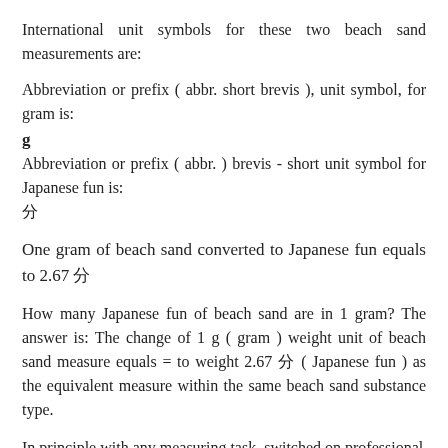International unit symbols for these two beach sand measurements are:
Abbreviation or prefix ( abbr. short brevis ), unit symbol, for gram is:
g
Abbreviation or prefix ( abbr. ) brevis - short unit symbol for Japanese fun is:
分
One gram of beach sand converted to Japanese fun equals to 2.67 分
How many Japanese fun of beach sand are in 1 gram? The answer is: The change of 1 g ( gram ) weight unit of beach sand measure equals = to weight 2.67 分 ( Japanese fun ) as the equivalent measure within the same beach sand substance type.
In principle with any measuring task, switched on professional